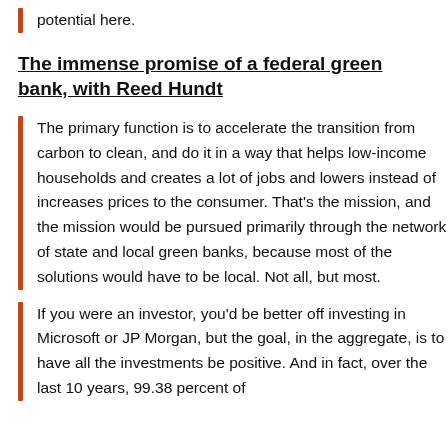potential here.
The immense promise of a federal green bank, with Reed Hundt
The primary function is to accelerate the transition from carbon to clean, and do it in a way that helps low-income households and creates a lot of jobs and lowers instead of increases prices to the consumer. That's the mission, and the mission would be pursued primarily through the network of state and local green banks, because most of the solutions would have to be local. Not all, but most.
If you were an investor, you'd be better off investing in Microsoft or JP Morgan, but the goal, in the aggregate, is to have all the investments be positive. And in fact, over the last 10 years, 99.38 percent of